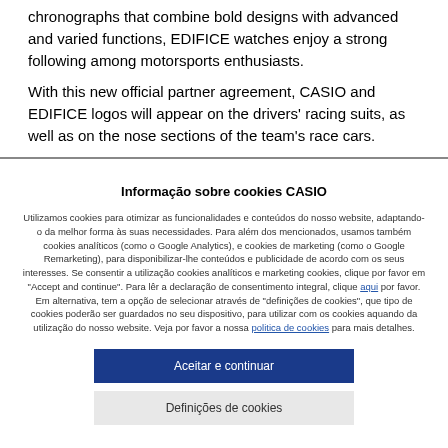chronographs that combine bold designs with advanced and varied functions, EDIFICE watches enjoy a strong following among motorsports enthusiasts.
With this new official partner agreement, CASIO and EDIFICE logos will appear on the drivers' racing suits, as well as on the nose sections of the team's race cars.
Informação sobre cookies CASIO
Utilizamos cookies para otimizar as funcionalidades e conteúdos do nosso website, adaptando-o da melhor forma às suas necessidades. Para além dos mencionados, usamos também cookies analíticos (como o Google Analytics), e cookies de marketing (como o Google Remarketing), para disponibilizar-lhe conteúdos e publicidade de acordo com os seus interesses. Se consentir a utilização cookies analíticos e marketing cookies, clique por favor em "Accept and continue". Para lêr a declaração de consentimento integral, clique aqui por favor. Em alternativa, tem a opção de selecionar através de "definições de cookies", que tipo de cookies poderão ser guardados no seu dispositivo, para utilizar com os cookies aquando da utilização do nosso website. Veja por favor a nossa politica de cookies para mais detalhes.
Aceitar e continuar
Definições de cookies